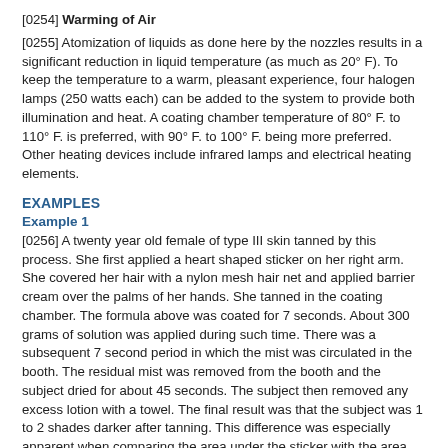[0254] Warming of Air
[0255] Atomization of liquids as done here by the nozzles results in a significant reduction in liquid temperature (as much as 20° F). To keep the temperature to a warm, pleasant experience, four halogen lamps (250 watts each) can be added to the system to provide both illumination and heat. A coating chamber temperature of 80° F. to 110° F. is preferred, with 90° F. to 100° F. being more preferred. Other heating devices include infrared lamps and electrical heating elements.
EXAMPLES
Example 1
[0256] A twenty year old female of type III skin tanned by this process. She first applied a heart shaped sticker on her right arm. She covered her hair with a nylon mesh hair net and applied barrier cream over the palms of her hands. She tanned in the coating chamber. The formula above was coated for 7 seconds. About 300 grams of solution was applied during such time. There was a subsequent 7 second period in which the mist was circulated in the booth. The residual mist was removed from the booth and the subject dried for about 45 seconds. The subject then removed any excess lotion with a towel. The final result was that the subject was 1 to 2 shades darker after tanning. This difference was especially apparent when comparing the area under the sticker with the area with no sticker. The initial color was